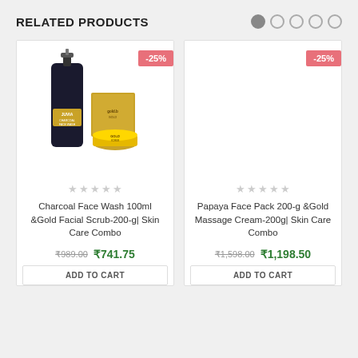RELATED PRODUCTS
[Figure (illustration): Five pagination dots, first one filled grey, rest unfilled circle outlines]
[Figure (photo): Juvia Charcoal Face Wash 100ml bottle and Gold facial scrub 200g box and jar combo product image. Badge showing -25% discount.]
[Figure (photo): Second product card with -25% badge, no visible product image (white/blank).]
★★★★★
★★★★★
Charcoal Face Wash 100ml &Gold Facial Scrub-200-g| Skin Care Combo
Papaya Face Pack 200-g &Gold Massage Cream-200g| Skin Care Combo
₹989.00  ₹741.75
₹1,598.00  ₹1,198.50